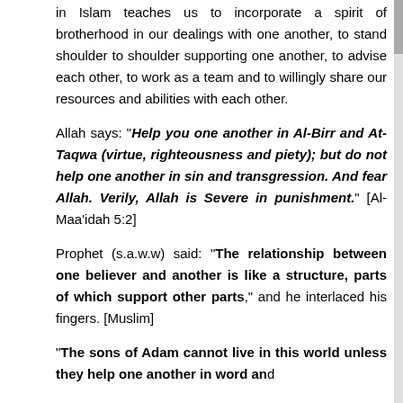in Islam teaches us to incorporate a spirit of brotherhood in our dealings with one another, to stand shoulder to shoulder supporting one another, to advise each other, to work as a team and to willingly share our resources and abilities with each other.
Allah says: "Help you one another in Al-Birr and At-Taqwa (virtue, righteousness and piety); but do not help one another in sin and transgression. And fear Allah. Verily, Allah is Severe in punishment." [Al-Maa'idah 5:2]
Prophet (s.a.w.w) said: "The relationship between one believer and another is like a structure, parts of which support other parts," and he interlaced his fingers. [Muslim]
"The sons of Adam cannot live in this world unless they help one another in word and